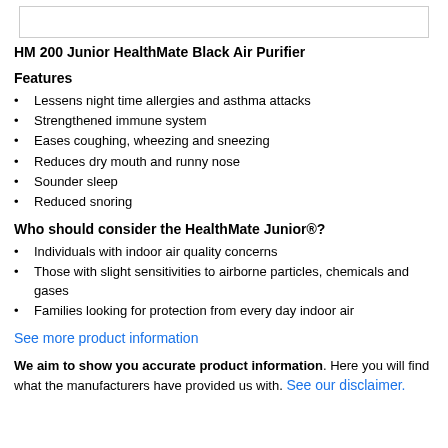[Figure (other): Product image placeholder box]
HM 200 Junior HealthMate Black Air Purifier
Features
Lessens night time allergies and asthma attacks
Strengthened immune system
Eases coughing, wheezing and sneezing
Reduces dry mouth and runny nose
Sounder sleep
Reduced snoring
Who should consider the HealthMate Junior®?
Individuals with indoor air quality concerns
Those with slight sensitivities to airborne particles, chemicals and gases
Families looking for protection from every day indoor air
See more product information
We aim to show you accurate product information. Here you will find what the manufacturers have provided us with. See our disclaimer.